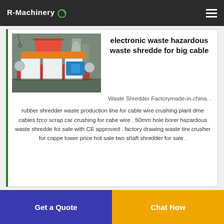R-Machinery
[Figure (photo): Industrial waste shredder machine with orange frame, white panels, blue electric motor, on factory floor]
electronic waste hazardous waste shredde for big cable
Waste Shredder Factorymade-in-china. . rubber shredder waste production line for cable wire crushing plant dme cables fzco scrap car crushing for cabe wire . 50mm hole borer hazardous waste shredde for sale with CE approved . factory drawing waste tire crusher for coppe lower price hot sale two shaft shredder for sale .
Get a Quote
Chat Now